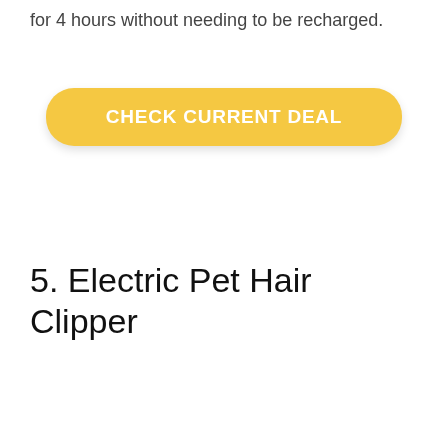for 4 hours without needing to be recharged.
[Figure (other): Yellow rounded button with white text reading CHECK CURRENT DEAL]
5. Electric Pet Hair Clipper